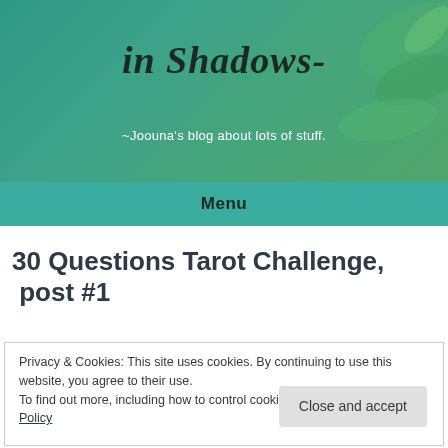in Shadows-
~Joouna's blog about lots of stuff.
Menu
30 Questions Tarot Challenge, post #1
Privacy & Cookies: This site uses cookies. By continuing to use this website, you agree to their use.
To find out more, including how to control cookies, see here: Cookie Policy
Close and accept